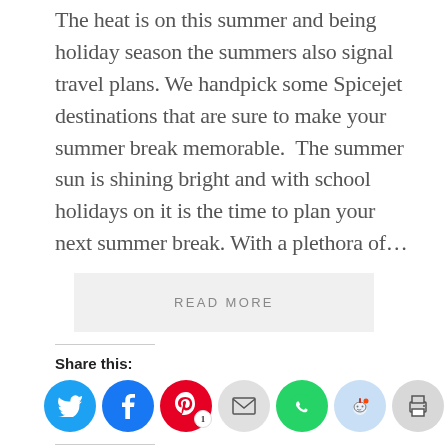The heat is on this summer and being holiday season the summers also signal travel plans. We handpick some Spicejet destinations that are sure to make your summer break memorable.  The summer sun is shining bright and with school holidays on it is the time to plan your next summer break. With a plethora of...
READ MORE
Share this:
[Figure (infographic): Social sharing icons: Twitter (blue), Facebook (blue), Pinterest (red with badge showing 1), Email (grey), WhatsApp (green), Reddit (light blue), Print (grey)]
Like this:
Loading...